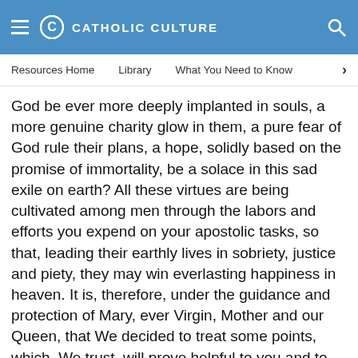CATHOLIC CULTURE
Resources Home   Library   What You Need to Know
God be ever more deeply implanted in souls, a more genuine charity glow in them, a pure fear of God rule their plans, a hope, solidly based on the promise of immortality, be a solace in this sad exile on earth? All these virtues are being cultivated among men through the labors and efforts you expend on your apostolic tasks, so that, leading their earthly lives in sobriety, justice and piety, they may win everlasting happiness in heaven. It is, therefore, under the guidance and protection of Mary, ever Virgin, Mother and our Queen, that We decided to treat some points, which, We trust, will prove helpful to you and to the work you are devotedly engaged in of tending the Lord's harvest.
3. At the beginning of June, on the occasion of the